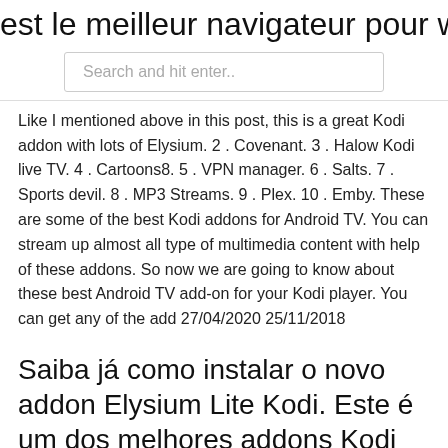est le meilleur navigateur pour windo
Search and hit enter..
Like I mentioned above in this post, this is a great Kodi addon with lots of Elysium. 2 . Covenant. 3 . Halow Kodi live TV. 4 . Cartoons8. 5 . VPN manager. 6 . Salts. 7 . Sports devil. 8 . MP3 Streams. 9 . Plex. 10 . Emby. These are some of the best Kodi addons for Android TV. You can stream up almost all type of multimedia content with help of these addons. So now we are going to know about these best Android TV add-on for your Kodi player. You can get any of the add 27/04/2020 25/11/2018
Saiba já como instalar o novo addon Elysium Lite Kodi. Este é um dos melhores addons Kodi do para assistir filmes e séries.
With so many Kodi addons suddenly going down, many Kodi users are wondering where they can get their streaming fix. The new Elysium Kodi addon is a great choice for Kodi...